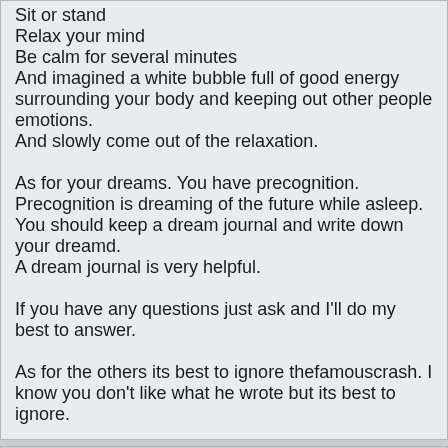Sit or stand
Relax your mind
Be calm for several minutes
And imagined a white bubble full of good energy surrounding your body and keeping out other people emotions.
And slowly come out of the relaxation.

As for your dreams. You have precognition.
Precognition is dreaming of the future while asleep.
You should keep a dream journal and write down your dreamd.
A dream journal is very helpful.

If you have any questions just ask and I'll do my best to answer.

As for the others its best to ignore thefamouscrash. I know you don't like what he wrote but its best to ignore.
IslVoter
9 years ago
Diamonds--

Yes, you most definitely have psychic abilities but you are at that undefined time when you don't yet know what form they will